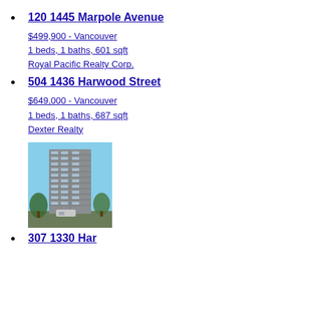120 1445 Marpole Avenue
$499,900 - Vancouver
1 beds, 1 baths, 601 sqft
Royal Pacific Realty Corp.
504 1436 Harwood Street
$649,000 - Vancouver
1 beds, 1 baths, 687 sqft
Dexter Realty
[Figure (photo): Exterior photo of a tall residential high-rise building (504 1436 Harwood Street), surrounded by trees, against a blue sky.]
307 1330 Har...